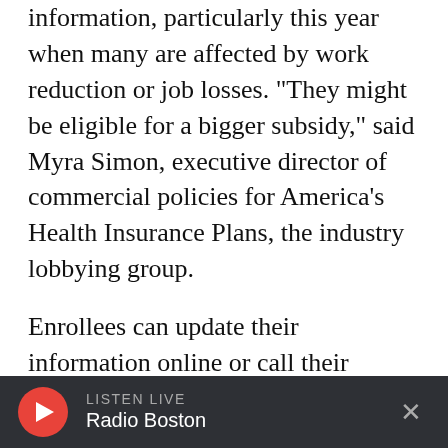information, particularly this year when many are affected by work reduction or job losses. "They might be eligible for a bigger subsidy," said Myra Simon, executive director of commercial policies for America's Health Insurance Plans, the industry lobbying group.
Enrollees can update their information online or call their federal or state marketplace for assistance. Insurance brokers, too, can aid people in signing up for ACA plans. When shopping, consumers should check whether the doctors and hospitals they want to use are included in the plan's network.
LISTEN LIVE Radio Boston